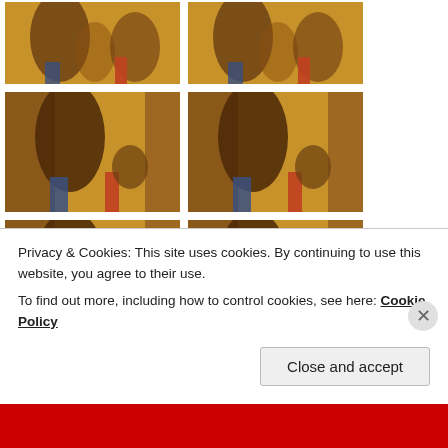[Figure (screenshot): Grid of 8 video thumbnail images showing people in an indoor setting with warm yellow lighting. Arranged in 4 rows of 2 columns. Each thumbnail shows a video player interface with a progress bar at the bottom.]
Privacy & Cookies: This site uses cookies. By continuing to use this website, you agree to their use.
To find out more, including how to control cookies, see here: Cookie Policy
Close and accept